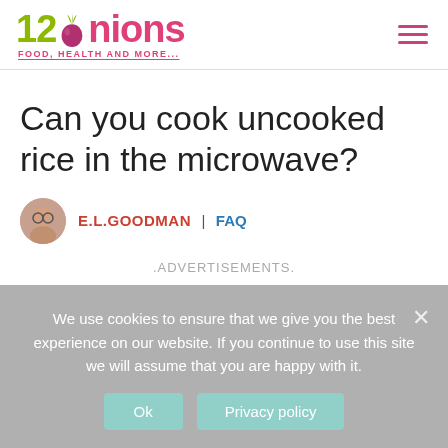12onions FOOD, HEALTH AND MORE...
Can you cook uncooked rice in the microwave?
E.L.GOODMAN | FAQ
.ADVERTISEMENTS.
We use cookies to ensure that we give you the best experience on our website. If you continue to use this site we will assume that you are happy with it.